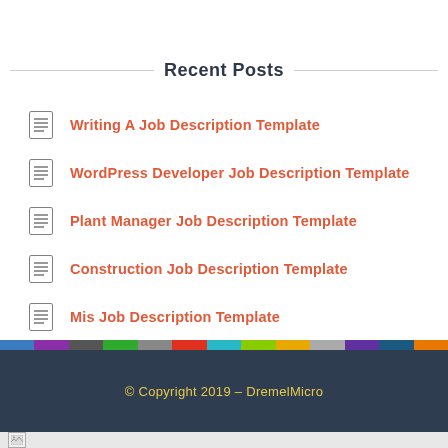Recent Posts
Writing A Job Description Template
WordPress Developer Job Description Template
Plant Manager Job Description Template
Construction Job Description Template
Mis Job Description Template
© Copyright 2019 – DremelMicro